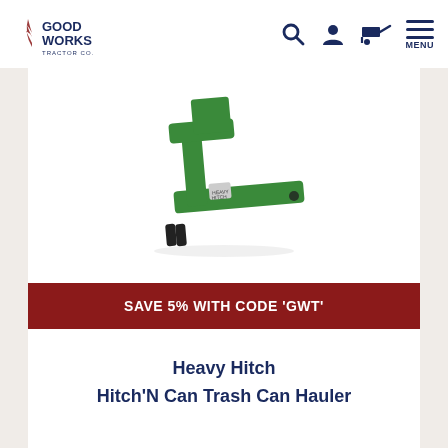Good Works Tractor Co. — navigation header with logo, search, account, cart, and menu icons
[Figure (photo): Green metal Heavy Hitch Hitch'N Can Trash Can Hauler tractor attachment on white background]
SAVE 5% WITH CODE 'GWT'
Heavy Hitch Hitch'N Can Trash Can Hauler